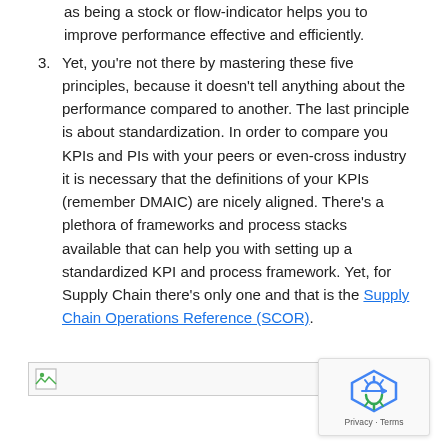as being a stock or flow-indicator helps you to improve performance effective and efficiently.
Yet, you’re not there by mastering these five principles, because it doesn’t tell anything about the performance compared to another. The last principle is about standardization. In order to compare you KPIs and PIs with your peers or even-cross industry it is necessary that the definitions of your KPIs (remember DMAIC) are nicely aligned. There’s a plethora of frameworks and process stacks available that can help you with setting up a standardized KPI and process framework. Yet, for Supply Chain there’s only one and that is the Supply Chain Operations Reference (SCOR).
[Figure (other): Broken image placeholder at bottom of page]
[Figure (other): reCAPTCHA badge with Privacy and Terms links in bottom right corner]